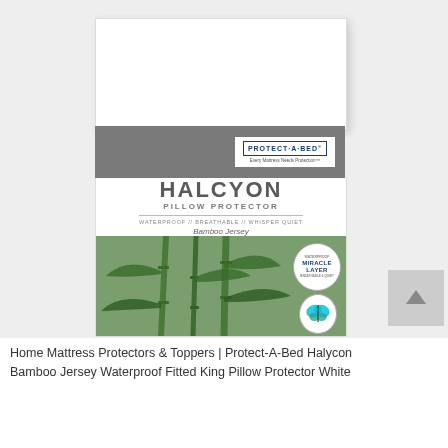[Figure (photo): Product photo of Protect-A-Bed Halcyon Pillow Protector packaging. The package is white with a gray banner showing the brand logo, a purple KING size badge, the product name HALCYON PILLOW PROTECTOR, features text WATERPROOF // BREATHABLE // WHISPER QUIET, Bamboo Jersey label, and a green lower section with bamboo plant illustration, Miracle Layer badge, and a butterfly certification badge.]
Home Mattress Protectors & Toppers | Protect-A-Bed Halycon Bamboo Jersey Waterproof Fitted King Pillow Protector White